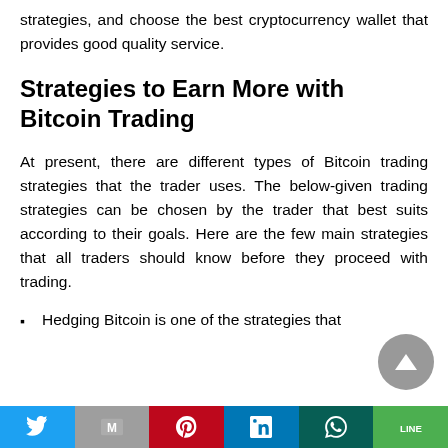strategies, and choose the best cryptocurrency wallet that provides good quality service.
Strategies to Earn More with Bitcoin Trading
At present, there are different types of Bitcoin trading strategies that the trader uses. The below-given trading strategies can be chosen by the trader that best suits according to their goals. Here are the few main strategies that all traders should know before they proceed with trading.
Hedging Bitcoin is one of the strategies that